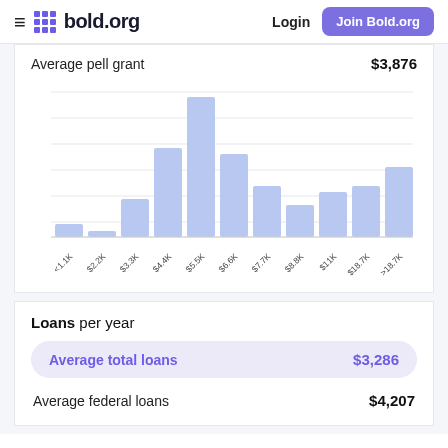bold.org | Login | Join Bold.org
Average pell grant $3,876
[Figure (histogram): Pell grant distribution]
Loans per year
Average total loans $3,286
Average federal loans $4,207